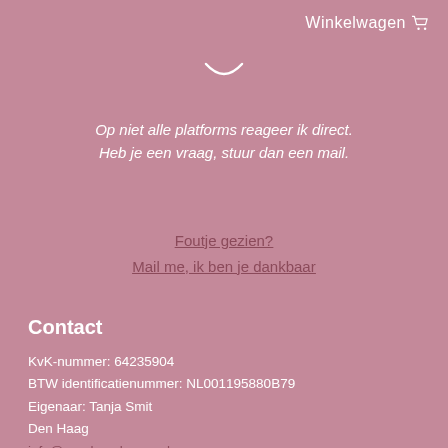Winkelwagen
[Figure (illustration): Simple smiley face icon (just the curved mouth arc), white on pink background]
Op niet alle platforms reageer ik direct.
Heb je een vraag, stuur dan een mail.
Foutje gezien?
Mail me, ik ben je dankbaar
Contact
KvK-nummer: 64235904
BTW identificatienummer: NL001195880B79
Eigenaar: Tanja Smit
Den Haag
info@pearlsandroses.nl